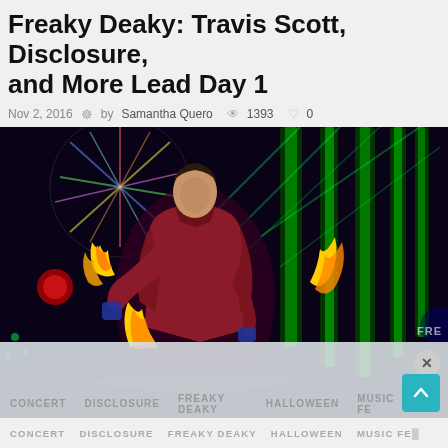Freaky Deaky: Travis Scott, Disclosure, and More Lead Day 1
Nov 2, 2016  by Samantha Quero  1393  0
[Figure (photo): A performer on stage at Freaky Deaky festival surrounded by fire and colorful green LED lights at night, wearing a red/maroon jacket]
CONCERT   DISCLOSURE   FREAKY DEAKY   HALLOWEEN   MUSIC FE...